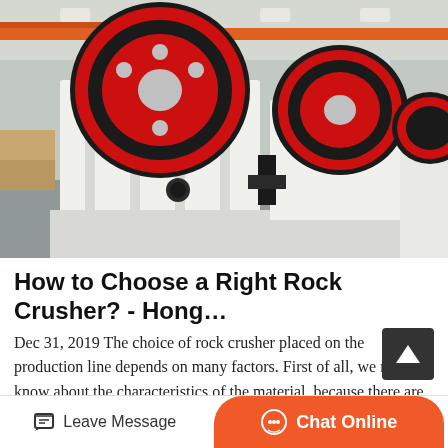[Figure (photo): Industrial jaw crushers in a factory/warehouse setting. Large white and red machines with rotating flywheels on a concrete floor, multiple units visible receding into the background under a high ceiling with orange overhead crane beams.]
How to Choose a Right Rock Crusher? - Hong…
Dec 31, 2019 The choice of rock crusher placed on the production line depends on many factors. First of all, we must know about the characteristics of the material, because there are soft and ha… rocks and different hardness of th…